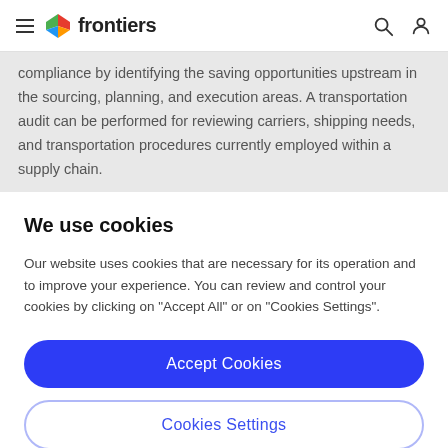frontiers
compliance by identifying the saving opportunities upstream in the sourcing, planning, and execution areas. A transportation audit can be performed for reviewing carriers, shipping needs, and transportation procedures currently employed within a supply chain.
We use cookies
Our website uses cookies that are necessary for its operation and to improve your experience. You can review and control your cookies by clicking on "Accept All" or on "Cookies Settings".
Accept Cookies
Cookies Settings